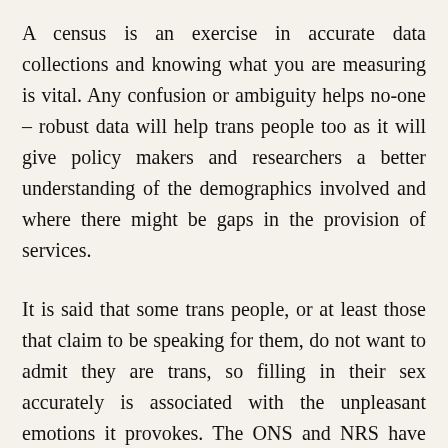A census is an exercise in accurate data collections and knowing what you are measuring is vital. Any confusion or ambiguity helps no-one – robust data will help trans people too as it will give policy makers and researchers a better understanding of the demographics involved and where there might be gaps in the provision of services.
It is said that some trans people, or at least those that claim to be speaking for them, do not want to admit they are trans, so filling in their sex accurately is associated with the unpleasant emotions it provokes. The ONS and NRS have responded by changing the guidance so you can